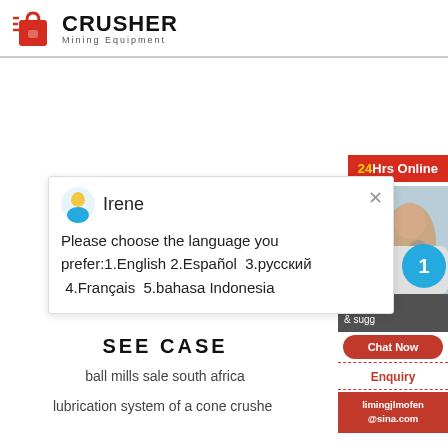[Figure (logo): Crusher Mining Equipment logo with red shopping bag icon and bold CRUSHER text]
[Figure (screenshot): 24Hrs Online live chat popup showing agent Irene asking to choose language preference in English, Español, русский, Français, bahasa Indonesia. Right sidebar shows chat button, Enquiry, and limingjlmofen@sina.com email.]
SEE CASE
ball mills sale south africa
lubrication system of a cone crusher